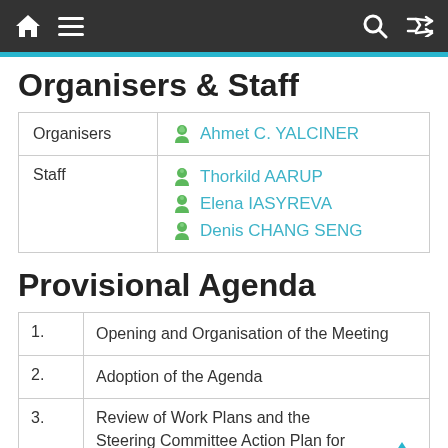Navigation bar with home, menu, search, and shuffle icons
Organisers & Staff
|  |  |
| --- | --- |
| Organisers | Ahmet C. YALCINER |
| Staff | Thorkild AARUP
Elena IASYREVA
Denis CHANG SENG |
Provisional Agenda
|  |  |
| --- | --- |
| 1. | Opening and Organisation of the Meeting |
| 2. | Adoption of the Agenda |
| 3. | Review of Work Plans and the Steering Committee Action Plan for 2016 |